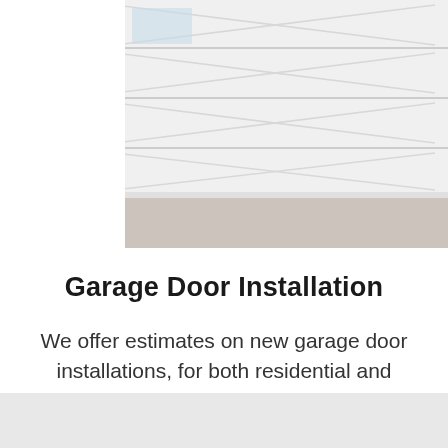[Figure (photo): White residential garage door with decorative X panel details, photographed from outside with driveway and green grass visible at bottom right]
Garage Door Installation
We offer estimates on new garage door installations, for both residential and commerical garage doors.